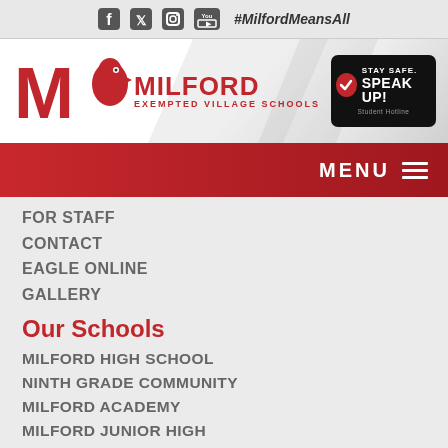#MilfordMeansAll
[Figure (logo): Milford Exempted Village Schools logo with eagle mascot and red M]
[Figure (logo): Stay Safe Speak Up Student Hotline badge]
MENU
FOR STAFF
CONTACT
EAGLE ONLINE
GALLERY
Our Schools
MILFORD HIGH SCHOOL
NINTH GRADE COMMUNITY
MILFORD ACADEMY
MILFORD JUNIOR HIGH
BOYD E SMITH ELEMENTARY
CHARLES L SEIPELT ELEMENTARY